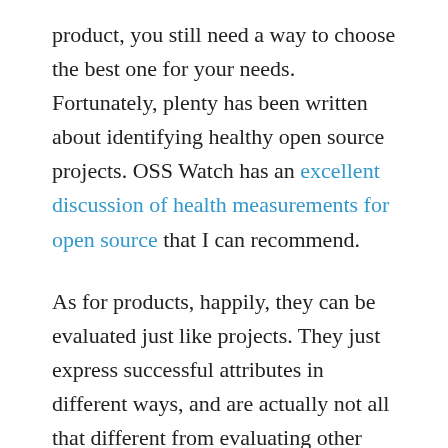product, you still need a way to choose the best one for your needs. Fortunately, plenty has been written about identifying healthy open source projects. OSS Watch has an excellent discussion of health measurements for open source that I can recommend.
As for products, happily, they can be evaluated just like projects. They just express successful attributes in different ways, and are actually not all that different from evaluating other software. Where a project should have many stars on GitHub or a vibrant mailing list, products should have customer references and a healthy partner ecosystem. Where a project's quality can be measured by its test coverage or bug turnover, a product's quality can be measured by certifications, like